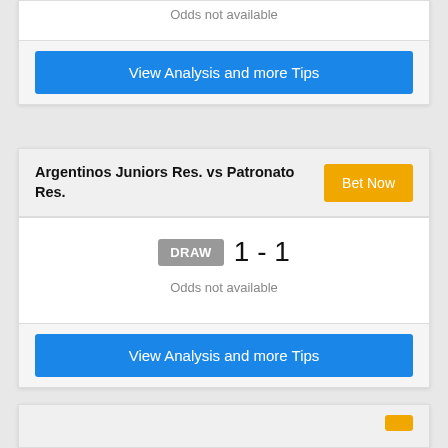Odds not available
View Analysis and more Tips
Argentinos Juniors Res. vs Patronato Res.
DRAW 1 - 1
Odds not available
View Analysis and more Tips